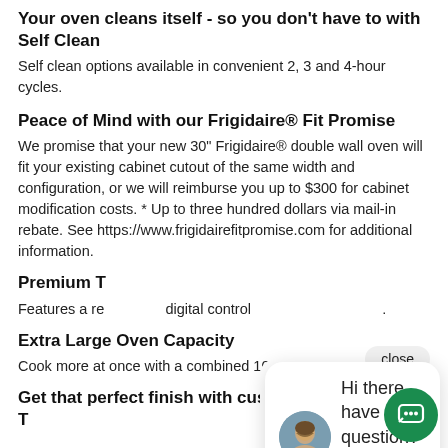Your oven cleans itself - so you don't have to with Self Clean
Self clean options available in convenient 2, 3 and 4-hour cycles.
Peace of Mind with our Frigidaire® Fit Promise
We promise that your new 30" Frigidaire® double wall oven will fit your existing cabinet cutout of the same width and configuration, or we will reimburse you up to $300 for cabinet modification costs. * Up to three hundred dollars via mail-in rebate. See https://www.frigidairefitpromise.com for additional information.
Premium To
Features a re… digital control…
Extra Large Oven Capacity
Cook more at once with a combined 10.6 cu.ft. of ov… capacity.
Get that perfect finish with customizable Broil Temperatures